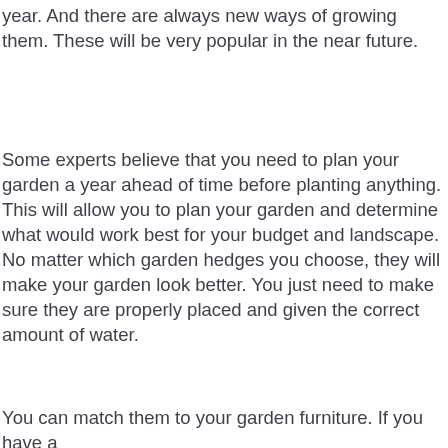year. And there are always new ways of growing them. These will be very popular in the near future.
Some experts believe that you need to plan your garden a year ahead of time before planting anything. This will allow you to plan your garden and determine what would work best for your budget and landscape. No matter which garden hedges you choose, they will make your garden look better. You just need to make sure they are properly placed and given the correct amount of water.
You can match them to your garden furniture. If you have a